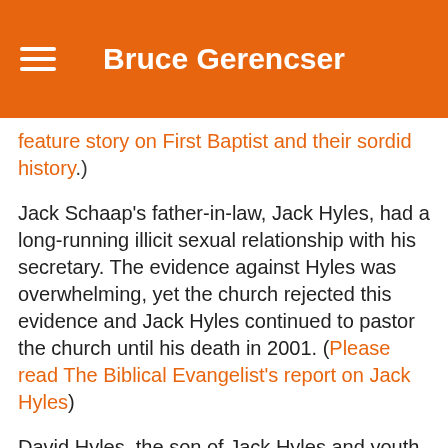Bruce Gerencser
feature story on First Baptist and their sordid history.)
Jack Schaap's father-in-law, Jack Hyles, had a long-running illicit sexual relationship with his secretary. The evidence against Hyles was overwhelming, yet the church rejected this evidence and Jack Hyles continued to pastor the church until his death in 2001. (Please read The Biblical Evangelist's report on Jack Hyles)
David Hyles, the son of Jack Hyles and youth pastor of First Baptist Church, had numerous